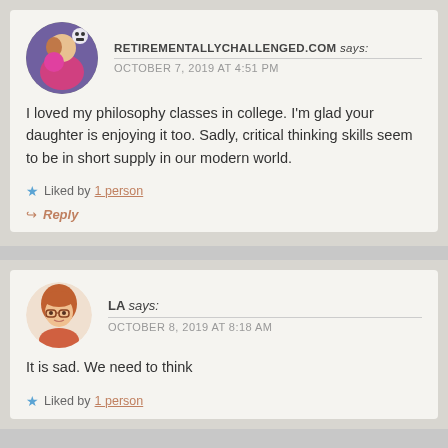RETIREMENTALLYCHALLENGED.COM says: OCTOBER 7, 2019 AT 4:51 PM
I loved my philosophy classes in college. I'm glad your daughter is enjoying it too. Sadly, critical thinking skills seem to be in short supply in our modern world.
Liked by 1 person
Reply
LA says: OCTOBER 8, 2019 AT 8:18 AM
It is sad. We need to think
Liked by 1 person